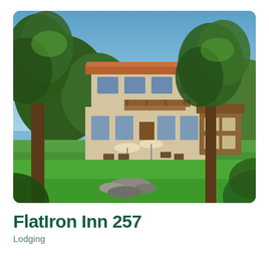[Figure (photo): Exterior photo of FlatIron Inn 257 showing a two-story tan stucco building with red tile roof and wooden balcony, surrounded by large green trees, outdoor patio with umbrellas and tables, a smaller wooden structure to the right, green lawn in the foreground with a stone feature, taken on a sunny summer day.]
FlatIron Inn 257
Lodging